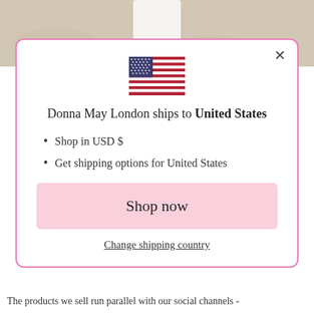[Figure (photo): Background photo showing person's legs on sandy beach, partially visible at top of page]
[Figure (illustration): US flag emoji/icon centered in modal dialog]
Donna May London ships to United States
Shop in USD $
Get shipping options for United States
Shop now
Change shipping country
The products we sell run parallel with our social channels -